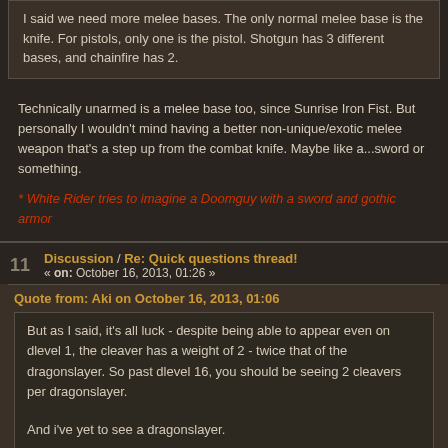I said we need more melee bases. The only normal melee base is the knife. For pistols, only one is the pistol. Shotgun has 3 different bases, and chainfire has 2.
Technically unarmed is a melee base too, since Sunrise Iron Fist. But personally I wouldn't mind having a better non-unique/exotic melee weapon that's a step up from the combat knife. Maybe like a...sword or something.
* White Rider tries to imagine a Doomguy with a sword and gothic armor
Discussion / Re: Quick questions thread! « on: October 16, 2013, 01:26 »
Quote from: Aki on October 16, 2013, 01:06
But as I said, it's all luck - despite being able to appear even on dlevel 1, the cleaver has a weight of 2 - twice that of the dragonslayer. So past dlevel 16, you should be seeing 2 cleavers per dragonslayer.

And i've yet to see a dragonslayer.